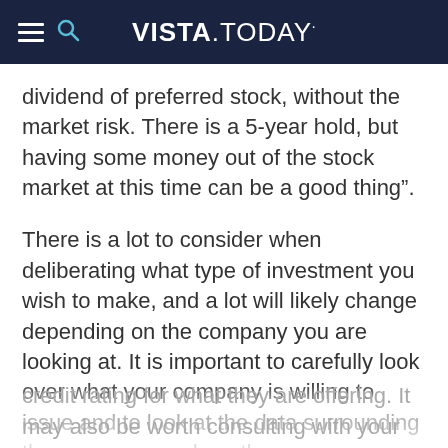VISTA.TODAY
dividend of preferred stock, without the market risk. There is a 5-year hold, but having some money out of the stock market at this time can be a good thing”.
There is a lot to consider when deliberating what type of investment you wish to make, and a lot will likely change depending on the company you are looking at. It is important to carefully look over what your company is willing to issue and to look at the data surrounding the company, such as the credit rating for what they are offering. It may also be worth consulting with your